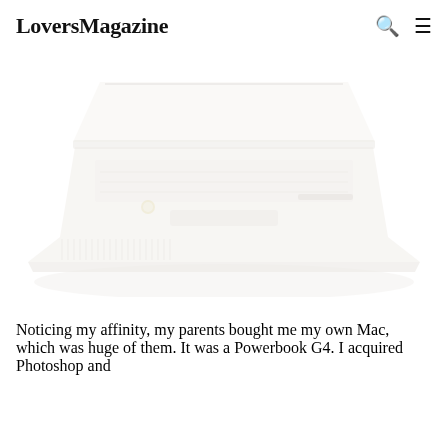LoversMagazine
[Figure (illustration): A faded/washed-out illustration of an Apple PowerBook G4 laptop computer, viewed from a three-quarter angle, showing the keyboard, trackpad, and optical drive slot. The image is very light, nearly white, with subtle beige/gray tones.]
Noticing my affinity, my parents bought me my own Mac, which was huge of them. It was a Powerbook G4. I acquired Photoshop and